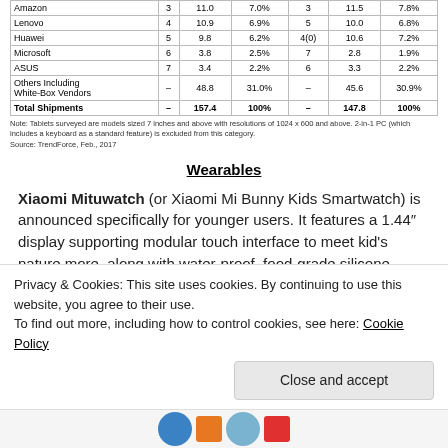|  |  | 2016 |  |  | 2015 |  |
| --- | --- | --- | --- | --- | --- | --- |
| Amazon | 3 | 11.0 | 7.0% | 3 | 11.5 | 7.8% |
| Lenovo | 4 | 10.9 | 6.9% | 5 | 10.0 | 6.8% |
| Huawei | 5 | 9.8 | 6.2% | 4(0) | 10.6 | 7.2% |
| Microsoft | 6 | 3.8 | 2.5% | 7 | 2.8 | 1.9% |
| ASUS | 7 | 3.4 | 2.2% | 6 | 3.3 | 2.2% |
| Others Including White-Box Vendors | - | 48.8 | 31.0% | - | 45.6 | 30.9% |
| Total Shipments | - | 157.4 | 100% | - | 147.8 | 100% |
Note: Tablets surveyed are models sized 7 inches and above with resolutions of 1024 x 600 and above. 2-in-1 PC (which includes a keyboard as a standard feature) is excluded from this category.
Source: TrendForce, Feb., 2017
Wearables
Xiaomi Mituwatch (or Xiaomi Mi Bunny Kids Smartwatch) is announced specifically for younger users. It features a 1.44" display supporting modular touch interface to meet kid's nature more, along with water-proof, food-grade silicone straps for maximum safety. It is priced at CNY179. (GizChina, Xiaomi Today, TechWeb, Huanqiu)
Privacy & Cookies: This site uses cookies. By continuing to use this website, you agree to their use. To find out more, including how to control cookies, see here: Cookie Policy